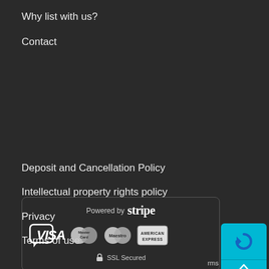Why list with us?
Contact
Deposit and Cancellation Policy
Intellectual property rights policy
Privacy
Terms of use
[Figure (infographic): Powered by Stripe badge with VISA, MasterCard, Maestro, American Express logos and SSL Secured badge]